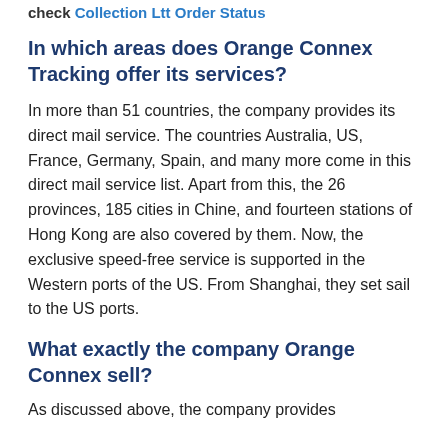check Collection Ltt Order Status
In which areas does Orange Connex Tracking offer its services?
In more than 51 countries, the company provides its direct mail service. The countries Australia, US, France, Germany, Spain, and many more come in this direct mail service list. Apart from this, the 26 provinces, 185 cities in Chine, and fourteen stations of Hong Kong are also covered by them. Now, the exclusive speed-free service is supported in the Western ports of the US. From Shanghai, they set sail to the US ports.
What exactly the company Orange Connex sell?
As discussed above, the company provides